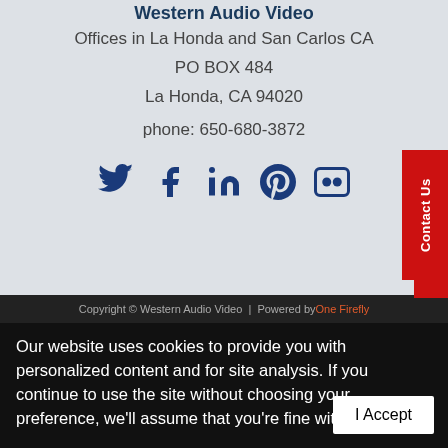Western Audio Video
Offices in La Honda and San Carlos CA
PO BOX 484
La Honda, CA 94020
phone:  650-680-3872
[Figure (infographic): Social media icons row: Twitter, Facebook, LinkedIn, Pinterest, Flickr]
Copyright © Western Audio Video  |  Powered by One Firefly
Our website uses cookies to provide you with personalized content and for site analysis. If you continue to use the site without choosing your preference, we'll assume that you're fine with cookies.